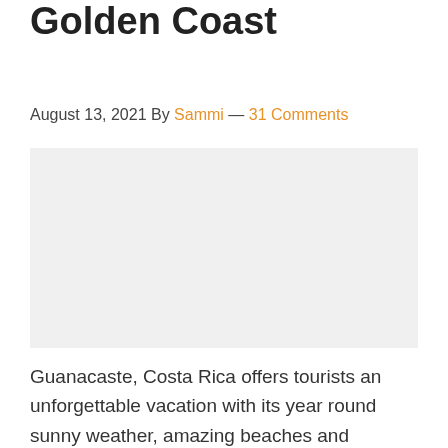Golden Coast
August 13, 2021 By Sammi — 31 Comments
[Figure (photo): Image placeholder area for Guanacaste Golden Coast article]
Guanacaste, Costa Rica offers tourists an unforgettable vacation with its year round sunny weather, amazing beaches and spectacular natural attractions. With some of the most beautiful beaches in Costa Rica,